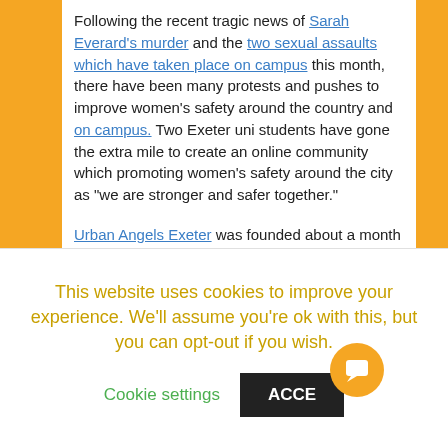Following the recent tragic news of Sarah Everard's murder and the two sexual assaults which have taken place on campus this month, there have been many protests and pushes to improve women's safety around the country and on campus. Two Exeter uni students have gone the extra mile to create an online community which promoting women's safety around the city as "we are stronger and safer together."
Urban Angels Exeter was founded about a month ago by Exeter grad Talisker Alcobia Cornford, 21. With over 1,500 members already, it was the first community to launch, and since then similar groups have been set up in Birmingham, Cardiff, Portsmouth and Brighton. Talisker
This website uses cookies to improve your experience. We'll assume you're ok with this, but you can opt-out if you wish.
Cookie settings   ACCEPT